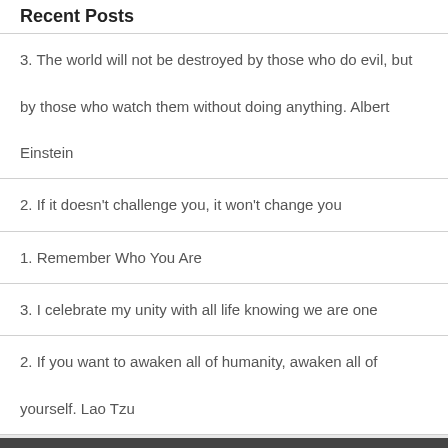Recent Posts
3. The world will not be destroyed by those who do evil, but by those who watch them without doing anything. Albert Einstein
2. If it doesn't challenge you, it won't change you
1. Remember Who You Are
3. I celebrate my unity with all life knowing we are one
2. If you want to awaken all of humanity, awaken all of yourself. Lao Tzu